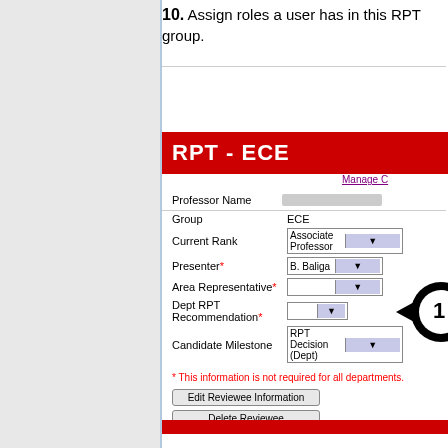10. Assign roles a user has in this RPT group.
[Figure (screenshot): Screenshot of RPT - ECE group management interface showing form fields: Professor Name (redacted), Group (ECE), Current Rank (Associate Professor dropdown), Presenter (B. Baliga dropdown), Area Representative (empty dropdown), Dept RPT Recommendation (empty dropdown), Candidate Milestone (RPT Decision (Dept) dropdown). Buttons: Edit Reviewee Information, Delete Reviewee. Milestone Descriptions text below. A navigation arrow/circle partially visible on right side.]
* This information is not required for all departments.
Milestone Descriptions
Professor Selected (Dept) - This professor has been selected to take p...
RPT Decision (Dept) - This processor is awaiting an RPT decision at t...
Open DVF Vote (Dept) - The DVF voting for this professor has been o...
Close DVF Vote (Dept) - The DVF voting for this professor has been c...
Advance to College Level - This professor's RPT information can now b...